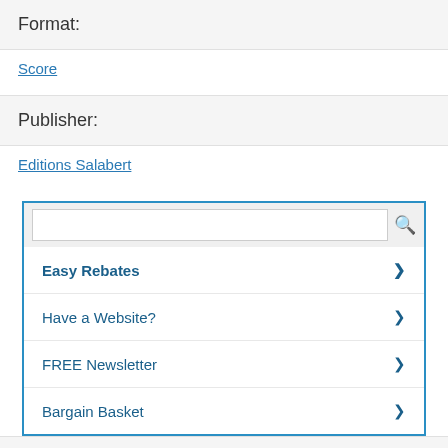Format:
Score
Publisher:
Editions Salabert
[Figure (screenshot): Search widget with search input box and menu items: Easy Rebates, Have a Website?, FREE Newsletter, Bargain Basket]
Easy Rebates
Have a Website?
FREE Newsletter
Bargain Basket